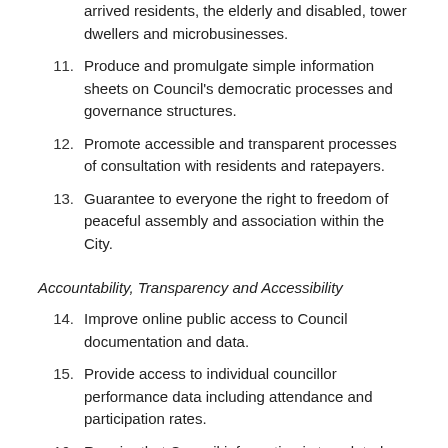arrived residents, the elderly and disabled, tower dwellers and microbusinesses.
11. Produce and promulgate simple information sheets on Council's democratic processes and governance structures.
12. Promote accessible and transparent processes of consultation with residents and ratepayers.
13. Guarantee to everyone the right to freedom of peaceful assembly and association within the City.
Accountability, Transparency and Accessibility
14. Improve online public access to Council documentation and data.
15. Provide access to individual councillor performance data including attendance and participation rates.
16. Require that Council information is translated and